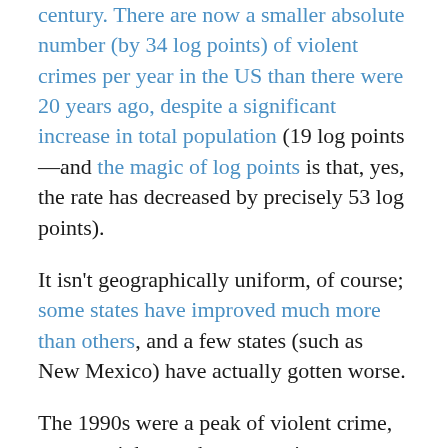century. There are now a smaller absolute number (by 34 log points) of violent crimes per year in the US than there were 20 years ago, despite a significant increase in total population (19 log points—and the magic of log points is that, yes, the rate has decreased by precisely 53 log points).
It isn't geographically uniform, of course; some states have improved much more than others, and a few states (such as New Mexico) have actually gotten worse.
The 1990s were a peak of violent crime, so one might say that we are just regressing to the mean. (Even that would be enough to make it baffling that people think crime is increasing.)